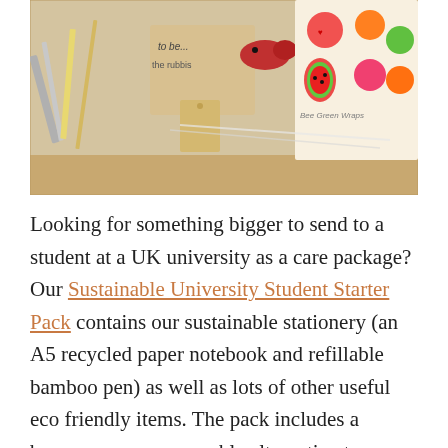[Figure (photo): A cardboard box containing various eco-friendly items including a bamboo pen, a notebook with 'to be... the rubbis' text visible, a knitted red fish toy, a Bee Green Wraps product with colorful fruit print (strawberries, oranges, kiwis, watermelon), a small tag, and other sustainable stationery items arranged inside the box.]
Looking for something bigger to send to a student at a UK university as a care package? Our Sustainable University Student Starter Pack contains our sustainable stationery (an A5 recycled paper notebook and refillable bamboo pen) as well as lots of other useful eco friendly items. The pack includes a beeswax wrap, a reusable alternative to clingfilm - perfect for covering plates to store excess takeaway food in the fridge for tomorrow. Additionally, a bamboo cutlery and straw set can be used for lunches on campus once in person teaching resumes and the bamboo straw can be used to replace plastic straws for having